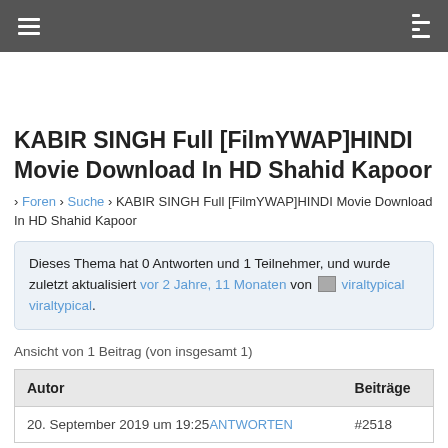[hamburger menu] [list icon]
KABIR SINGH Full [FilmYWAP]HINDI Movie Download In HD Shahid Kapoor
› Foren › Suche › KABIR SINGH Full [FilmYWAP]HINDI Movie Download In HD Shahid Kapoor
Dieses Thema hat 0 Antworten und 1 Teilnehmer, und wurde zuletzt aktualisiert vor 2 Jahre, 11 Monaten von [icon] viraltypical viraltypical.
Ansicht von 1 Beitrag (von insgesamt 1)
| Autor | Beiträge |
| --- | --- |
| 20. September 2019 um 19:25 ANTWORTEN | #2518 |